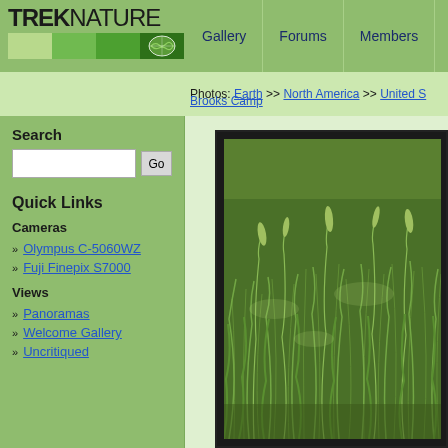TREKNATURE — Gallery | Forums | Members | My Account
Photos: Earth >> North America >> United S... >> Brooks Camp
Search
Quick Links
Cameras
Olympus C-5060WZ
Fuji Finepix S7000
Views
Panoramas
Welcome Gallery
Uncritiqued
[Figure (photo): Close-up photograph of green grass with tall blades and seed heads, taken at Brooks Camp, Katmai, Alaska]